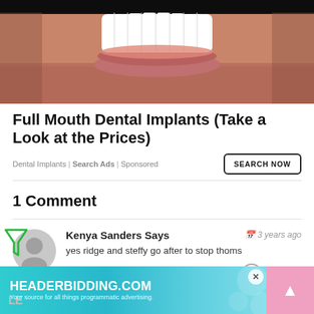[Figure (photo): Close-up photo of a person smiling showing white teeth and facial stubble]
Full Mouth Dental Implants (Take a Look at the Prices)
Dental Implants | Search Ads | Sponsored
1 Comment
Kenya Sanders Says
3 years ago
yes ridge and steffy go after to stop thoms
[Figure (screenshot): HEADERBIDDING.COM advertisement banner - Your source for all things programmatic advertising.]